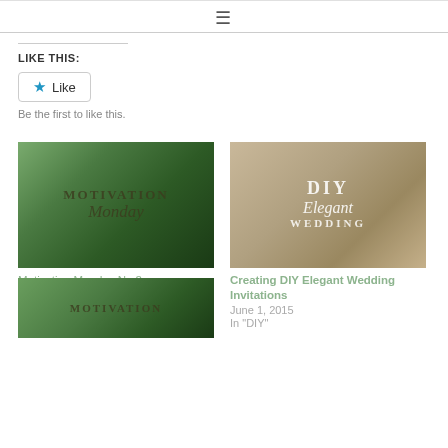☰
LIKE THIS:
Like
Be the first to like this.
[Figure (photo): Motivation Monday No 2 blog post thumbnail with green leaf background and text overlay]
Motivation Monday No 2
June 20, 2016
In "Motivation Monday"
[Figure (photo): Creating DIY Elegant Wedding Invitations blog post thumbnail with tan/brown background and decorative text overlay]
Creating DIY Elegant Wedding Invitations
June 1, 2015
In "DIY"
[Figure (photo): Third blog post thumbnail with MOTIVATION text on green background, partially visible]